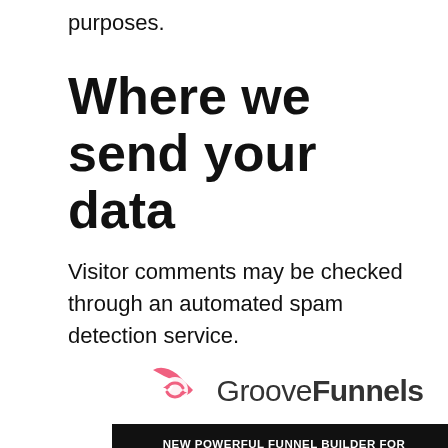purposes.
Where we send your data
Visitor comments may be checked through an automated spam detection service.
[Figure (logo): GrooveFunnels logo with pink swoosh/arrow icon and text 'GrooveFunnels'. Below: black banner 'NEW POWERFUL FUNNEL BUILDER FOR MARKETERS', then 'NOW $99/MO FREE' in blue/red/yellow with strikethrough on $99/MO, then red bar 'NO CREDIT CARD REQUIRED'.]